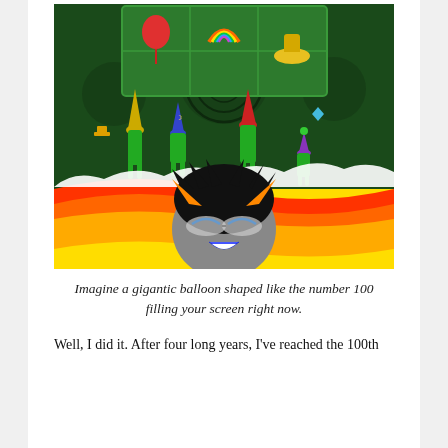[Figure (illustration): Digital illustration showing cartoon characters. Top portion has a dark green background with a lighter green grid panel showing icons: a red balloon, a rainbow, and a yellow hat/mushroom. Below the panel are four tall green cartoon alien/wizard figures wearing pointed hats in various colors (yellow, blue, red, purple). Bottom portion shows a character with black spiky hair, orange horns, glasses, and a grin, set against a vivid orange-red-yellow wavy background.]
Imagine a gigantic balloon shaped like the number 100 filling your screen right now.
Well, I did it. After four long years, I've reached the 100th